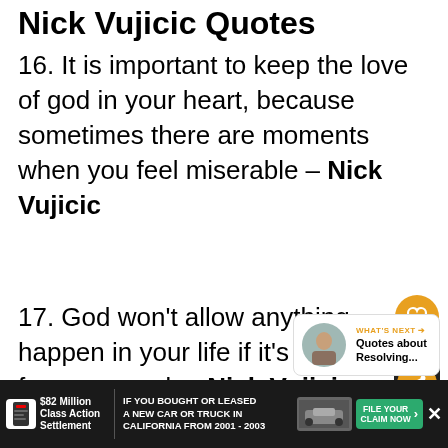Nick Vujicic Quotes
16. It is important to keep the love of god in your heart, because sometimes there are moments when you feel miserable – Nick Vujicic
17. God won't allow anything happen in your life if it's not for your good. – Nick Vujicic
18. It's a form of bullying (view
[Figure (infographic): UI overlay with heart (like) button in orange circle, share count '11', and share button in orange circle on dark pill background]
[Figure (infographic): What's Next card showing text 'WHAT'S NEXT → Quotes about Resolving...' with a circular thumbnail image]
[Figure (infographic): Advertisement bar: '$82 Million Class Action Settlement - IF YOU BOUGHT OR LEASED A NEW CAR OR TRUCK IN CALIFORNIA FROM 2001 - 2003 - FILE YOUR CLAIM NOW']